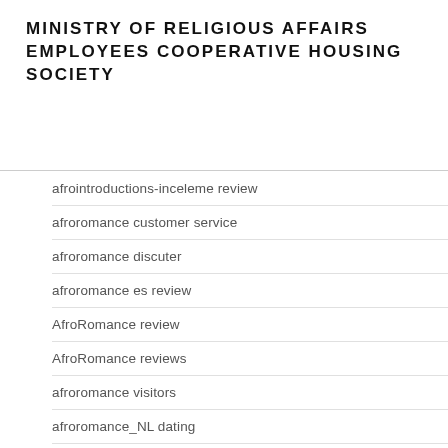MINISTRY OF RELIGIOUS AFFAIRS EMPLOYEES COOPERATIVE HOUSING SOCIETY
afrointroductions-inceleme review
afroromance customer service
afroromance discuter
afroromance es review
AfroRomance review
AfroRomance reviews
afroromance visitors
afroromance_NL dating
afroromance-inceleme review
afroromance-inceleme visitors